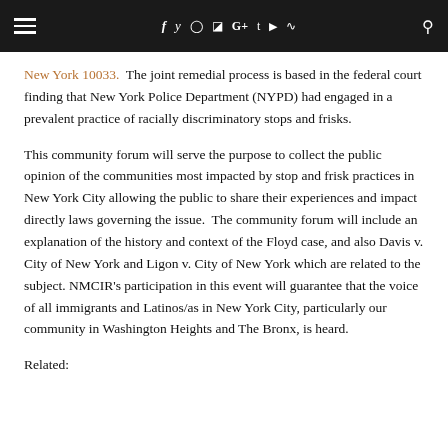Navigation bar with hamburger menu and social media icons (f, y, instagram, pinterest, G+, t, youtube, rss, search)
New York 10033. The joint remedial process is based in the federal court finding that New York Police Department (NYPD) had engaged in a prevalent practice of racially discriminatory stops and frisks.
This community forum will serve the purpose to collect the public opinion of the communities most impacted by stop and frisk practices in New York City allowing the public to share their experiences and impact directly laws governing the issue. The community forum will include an explanation of the history and context of the Floyd case, and also Davis v. City of New York and Ligon v. City of New York which are related to the subject. NMCIR's participation in this event will guarantee that the voice of all immigrants and Latinos/as in New York City, particularly our community in Washington Heights and The Bronx, is heard.
Related: